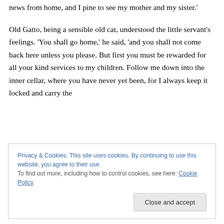news from home, and I pine to see my mother and my sister.'
Old Gatto, being a sensible old cat, understood the little servant's feelings. 'You shall go home,' he said, 'and you shall not come back here unless you please. But first you must be rewarded for all your kind services to my children. Follow me down into the inner cellar, where you have never yet been, for I always keep it locked and carry the
Privacy & Cookies: This site uses cookies. By continuing to use this website, you agree to their use.
To find out more, including how to control cookies, see here: Cookie Policy